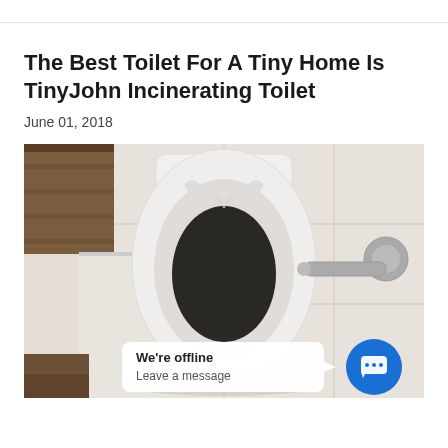The Best Toilet For A Tiny Home Is TinyJohn Incinerating Toilet
June 01, 2018
[Figure (photo): Overhead view of a white TinyJohn incinerating toilet in a small white-paneled bathroom. A metal exhaust duct is visible on the right wall. Wooden flooring visible in the upper left corner. A chat widget overlay appears at the bottom showing 'We're offline / Leave a message' with a blue chat button.]